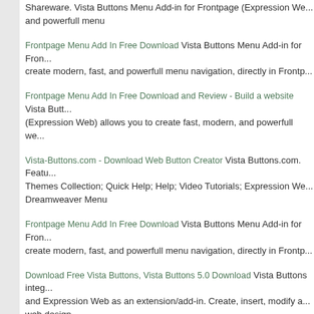Shareware. Vista Buttons Menu Add-in for Frontpage (Expression We... and powerfull menu
Frontpage Menu Add In Free Download Vista Buttons Menu Add-in for Fro... create modern, fast, and powerfull menu navigation, directly in Frontp...
Frontpage Menu Add In Free Download and Review - Build a website Vista Butt... (Expression Web) allows you to create fast, modern, and powerfull we...
Vista-Buttons.com - Download Web Button Creator Vista Buttons.com. Featu... Themes Collection; Quick Help; Help; Video Tutorials; Expression We... Dreamweaver Menu
Frontpage Menu Add In Free Download Vista Buttons Menu Add-in for Fron... create modern, fast, and powerfull menu navigation, directly in Frontp...
Download Free Vista Buttons, Vista Buttons 5.0 Download Vista Buttons integ... and Expression Web as an extension/add-in. Create, insert, modify a... web design
FrontPage Menu - Create an excellent drop down menu for your FrontPage dro... drop down menu for your FrontPage site quickly and easily with Vista...
FrontPage Menu - Create an excellent drop down menu for your FrontPage dro... drop down menu for your FrontPage site quickly and easily with Vista...
Download Free Vista Buttons, Vista Buttons 5.0 Download Vista Buttons integ... and Expression Web as an extension/add-in. Create, insert, modify a... web design